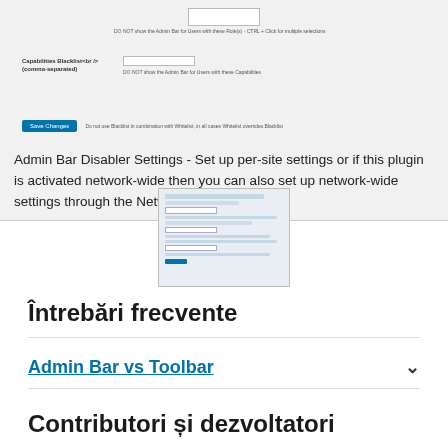[Figure (screenshot): WordPress plugin settings page screenshot showing Capabilities Blacklist field, input box, description text 'DO NOT show the Admin Bar for Users with these Capabilities', and a Save Changes button with note about Blacklist and Whitelist]
Admin Bar Disabler Settings - Set up per-site settings or if this plugin is activated network-wide then you can also set up network-wide settings through the Network Admin.
[Figure (screenshot): Thumbnail screenshot of the Admin Bar Disabler settings page]
Întrebări frecvente
Admin Bar vs Toolbar
Contributori și dezvoltatori